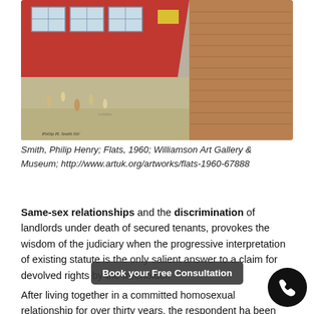[Figure (illustration): Painting of a flat building exterior with figures on a concrete ground below, red/brick facade, windows. Signed 'Philip H. Smith 60'.]
Smith, Philip Henry; Flats, 1960; Williamson Art Gallery & Museum; http://www.artuk.org/artworks/flats-1960-67888
Same-sex relationships and the discrimination of landlords under death of secured tenants, provokes the wisdom of the judiciary when the progressive interpretation of existing statute is the only salient answer to a claim for devolved rights by the freeholder.
After living together in a committed homosexual relationship for over thirty years, the respondent has been left facing continued occupancy of the flat under